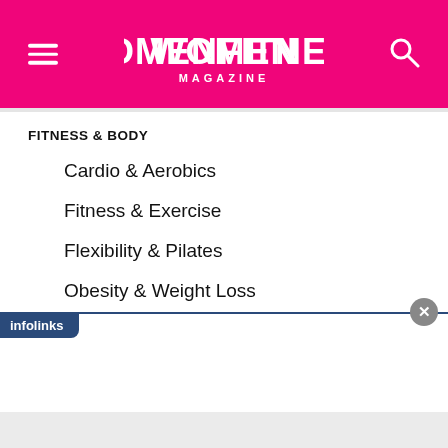WOMENFITNESS MAGAZINE
FITNESS & BODY
Cardio & Aerobics
Fitness & Exercise
Flexibility & Pilates
Obesity & Weight Loss
Personal Training
Posture & Body
Strength Training
[Figure (screenshot): Infolinks advertisement bar at bottom of page with close button]
[Figure (screenshot): Gray advertisement area at bottom of page]